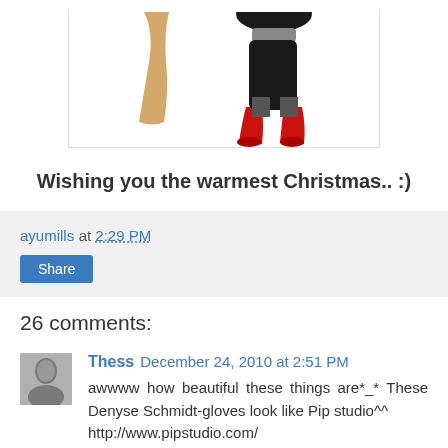[Figure (illustration): Partial illustration showing a figure with tan/beige lower body and a dark character wearing red boots and a gray scarf, against white background with thin border]
Wishing you the warmest Christmas.. :)
ayumills at 2:29 PM
Share
26 comments:
Thess December 24, 2010 at 2:51 PM
awwww how beautiful these things are*_* These Denyse Schmidt-gloves look like Pip studio^^ http://www.pipstudio.com/
They really appreciate the comment...